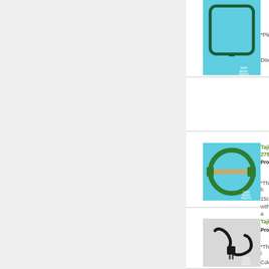[Figure (photo): Tajima embroidery machine hoop/frame in teal/cyan color, flat style with square shape]
*Pleas
Disco
[Figure (photo): Tajima 275mm embroidery hoop - circular green hoop shown flat]
Tajima 275m
Produ
*This h
15cm
with a
[Figure (photo): Tajima machine part with black cable/cord attached]
Tajima
Produ
*This i
Color
machi